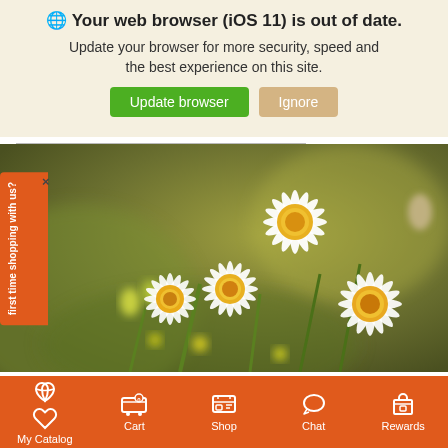🌐 Your web browser (iOS 11) is out of date.
Update your browser for more security, speed and the best experience on this site.
Update browser | Ignore
[Figure (photo): Close-up photo of white daisy flowers with yellow centers against a blurred olive-green background]
× first time shopping with us?
My Catalog | Cart | Shop | Chat | Rewards